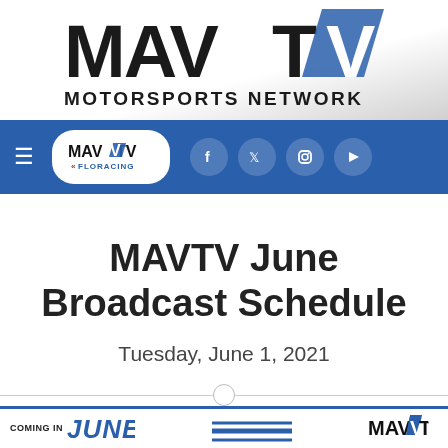[Figure (logo): MAVTV Motorsports Network logo — bold black MAV with TV in blue and white, 'MOTORSPORTS NETWORK' in bold black caps below, on a light gray gradient background]
[Figure (screenshot): Blue navigation bar with hamburger menu icon on left, MAVTV on FloRacing pill logo in center, and social media icons (Facebook, Twitter, Instagram, YouTube) as white circles on right]
MAVTV June Broadcast Schedule
Tuesday, June 1, 2021
[Figure (logo): Bottom promo strip: 'COMING IN JUNE' text with MAVTV logo on right, blue stripe accent]